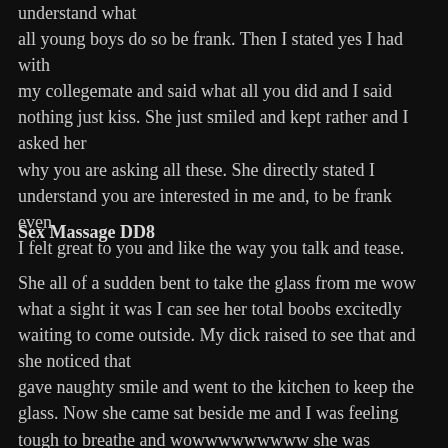understand what all young boys do so be frank. Then I stated yes I had with my collegemate and said what all you did and I said nothing just kiss. She just smiled and kept rather and I asked her why you are asking all these. She directly stated I understand you are interested in me and, to be frank even I felt great to you and like the way you talk and tease.
Sex Massage DD8
She all of a sudden bent to take the glass from me wow what a sight it was I can see her total boobs excitedly waiting to come outside. My dick raised to see that and she noticed that gave naughty smile and went to the kitchen to keep the glass. Now she came sat beside me and I was feeling tough to breathe and wowwwwwwwww she was smelling so excellent. She